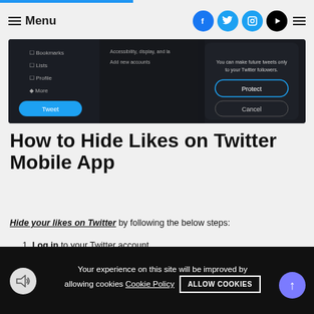Menu
[Figure (screenshot): Twitter mobile app screenshot showing a dark UI with sidebar menu items (Bookmarks, Lists, Profile, More) and a 'Protect' dialog with Cancel button]
How to Hide Likes on Twitter Mobile App
Hide your likes on Twitter by following the below steps:
1. Log in to your Twitter account.
[Figure (screenshot): Mobile phone screen showing Twitter app login screen with X and Twitter bird icons]
Your experience on this site will be improved by allowing cookies Cookie Policy  ALLOW COOKIES